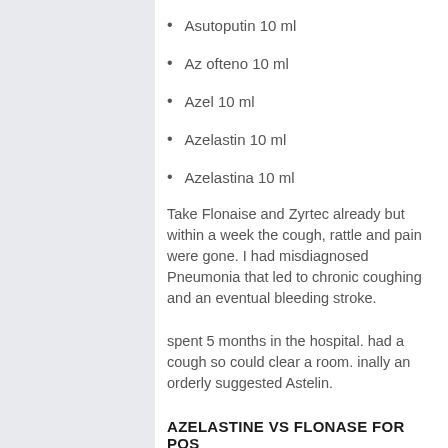Asutoputin 10 ml
Az ofteno 10 ml
Azel 10 ml
Azelastin 10 ml
Azelastina 10 ml
Take Flonaise and Zyrtec already but within a week the cough, rattle and pain were gone. I had misdiagnosed Pneumonia that led to chronic coughing and an eventual bleeding stroke.
spent 5 months in the hospital. had a cough so could clear a room. inally an orderly suggested Astelin.
AZELASTINE VS FLONASE FOR POS